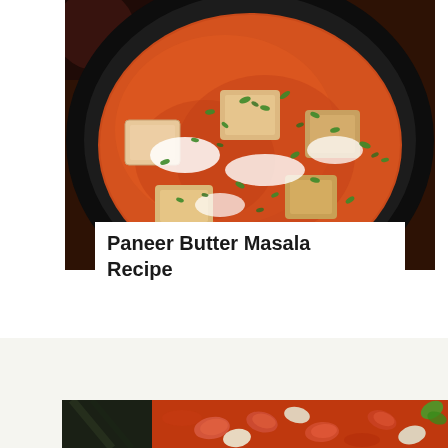[Figure (photo): Overhead view of Paneer Butter Masala in a dark round pan — orange-red creamy curry sauce with paneer cubes, topped with cream swirls and chopped green herbs/coriander]
Paneer Butter Masala Recipe
Featured Recipes
[Figure (photo): Partial overhead view of a red bean/kidney bean curry dish with green herb garnish, partially visible at bottom of page]